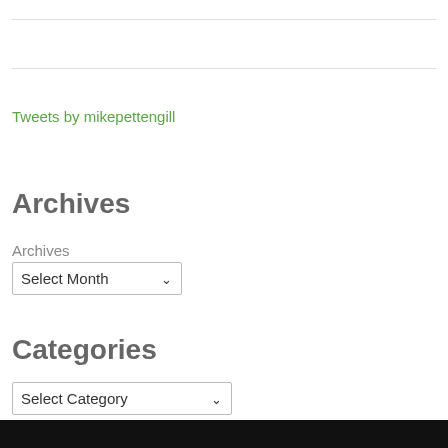Tweets by mikepettengill
Archives
Archives
Select Month
Categories
Select Category